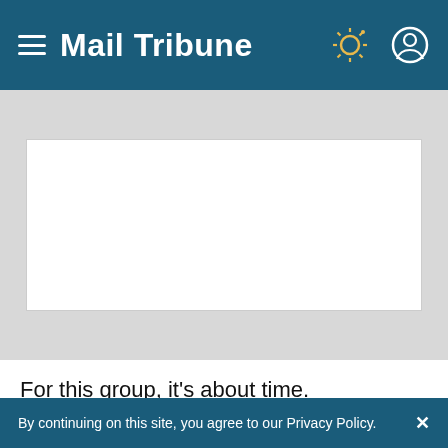Mail Tribune
[Figure (other): Advertisement placeholder white box on gray background]
For this group, it's about time.
"These guys like Willie Roaf and Jack Butler and Cortez Kennedy and Dermontti Dawson, how often do you hear their names called unless they're doing something that they shouldn't be doing?" said Doleman, who had 1501/2; sacks.
By continuing on this site, you agree to our Privacy Policy.